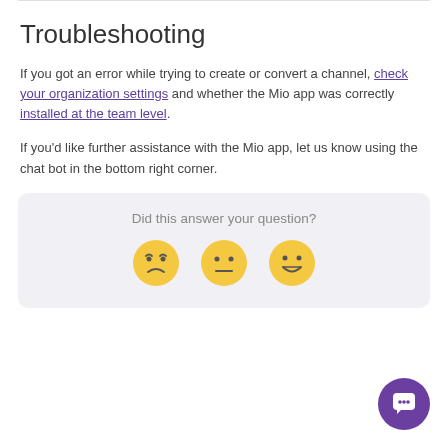Troubleshooting
If you got an error while trying to create or convert a channel, check your organization settings and whether the Mio app was correctly installed at the team level.
If you'd like further assistance with the Mio app, let us know using the chat bot in the bottom right corner.
[Figure (infographic): Feedback widget with text 'Did this answer your question?' and three emoji faces: disappointed, neutral, and happy]
[Figure (illustration): Purple circular chat bot button in bottom right corner]